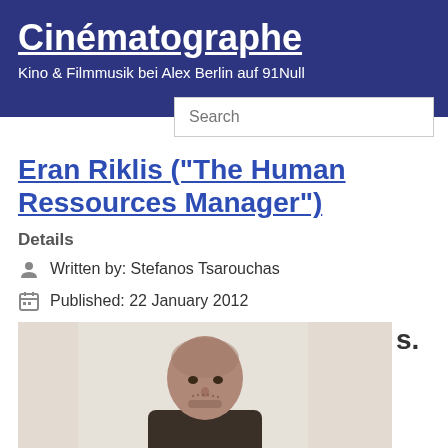Cinématographe
Kino & Filmmusik bei Alex Berlin auf 91Null
Eran Riklis ("The Human Ressources Manager")
Details
Written by: Stefanos Tsarouchas
Published: 22 January 2012
[Figure (photo): Photo of Eran Riklis, a middle-aged bald man with stubble, wearing a dark shirt, photographed indoors in front of light curtains.]